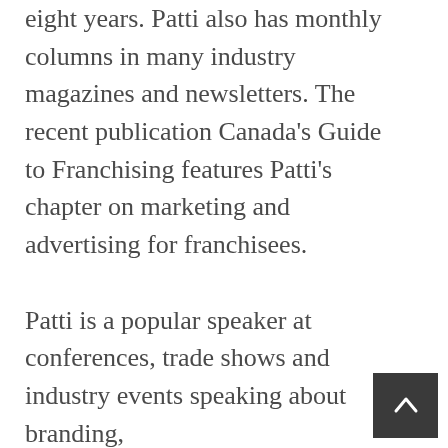eight years. Patti also has monthly columns in many industry magazines and newsletters. The recent publication Canada's Guide to Franchising features Patti's chapter on marketing and advertising for franchisees.

Patti is a popular speaker at conferences, trade shows and industry events speaking about branding,